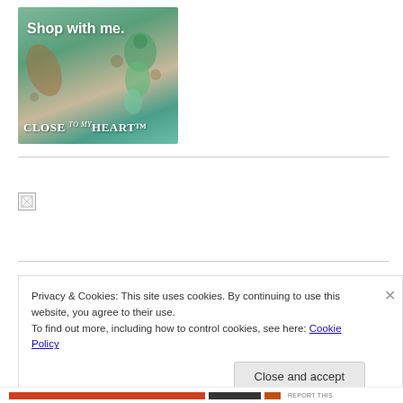[Figure (illustration): Close To My Heart shop banner with text 'Shop with me.' and logo featuring a green seahorse and craft supplies on a teal/natural background]
[Figure (illustration): Broken/unloaded image placeholder (small icon)]
Privacy & Cookies: This site uses cookies. By continuing to use this website, you agree to their use.
To find out more, including how to control cookies, see here: Cookie Policy